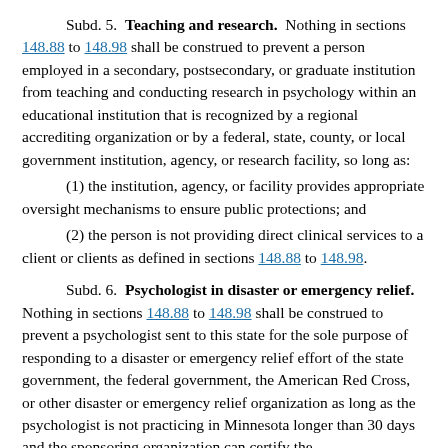Subd. 5. Teaching and research. Nothing in sections 148.88 to 148.98 shall be construed to prevent a person employed in a secondary, postsecondary, or graduate institution from teaching and conducting research in psychology within an educational institution that is recognized by a regional accrediting organization or by a federal, state, county, or local government institution, agency, or research facility, so long as:
(1) the institution, agency, or facility provides appropriate oversight mechanisms to ensure public protections; and
(2) the person is not providing direct clinical services to a client or clients as defined in sections 148.88 to 148.98.
Subd. 6. Psychologist in disaster or emergency relief. Nothing in sections 148.88 to 148.98 shall be construed to prevent a psychologist sent to this state for the sole purpose of responding to a disaster or emergency relief effort of the state government, the federal government, the American Red Cross, or other disaster or emergency relief organization as long as the psychologist is not practicing in Minnesota longer than 30 days and the sponsoring organization can certify the